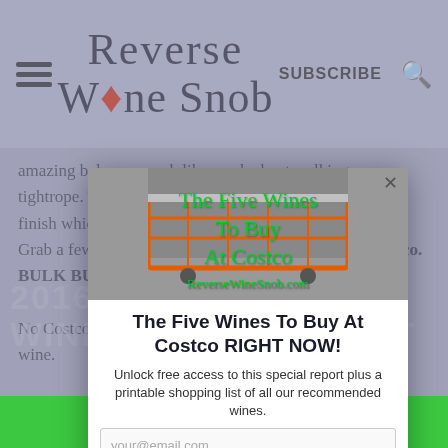Reverse Wine Snob — SUBSCRIBE
amazing balance, much like an elephant walking a tightrope. The wine dissolves beautifully on the long, dry finish which features lingering smoke and savory spice. Grab a few bottles of this one on your next trip to Costco. BULK BUY!
No Costco in your area? Check out local retailers for this wine.
[Figure (photo): Shopping cart at Costco with overlay text: The Five Wines To Buy At Costco, ReverseWineSnob.com]
The Five Wines To Buy At Costco RIGHT NOW!
Unlock free access to this special report plus a printable shopping list of all our recommended wines.
your@email.com
SUBSCRIBE! →
2016 MICHAEL DAVID WINERY PETITE PETIT
TASTE: 0 COST: 6